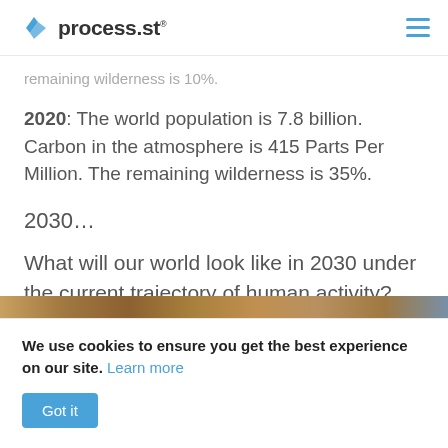process.st
remaining wilderness is 10%.
2020: The world population is 7.8 billion. Carbon in the atmosphere is 415 Parts Per Million. The remaining wilderness is 35%.
2030…
What will our world look like in 2030 under the current trajectory of human activity?
[Figure (photo): Partial image strip visible at bottom of main content area, showing landscape/nature photo]
We use cookies to ensure you get the best experience on our site. Learn more